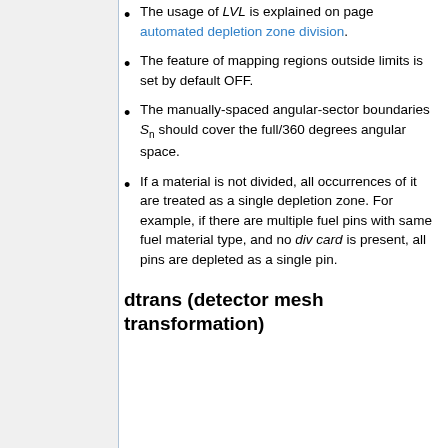The usage of LVL is explained on page automated depletion zone division.
The feature of mapping regions outside limits is set by default OFF.
The manually-spaced angular-sector boundaries S_n should cover the full/360 degrees angular space.
If a material is not divided, all occurrences of it are treated as a single depletion zone. For example, if there are multiple fuel pins with same fuel material type, and no div card is present, all pins are depleted as a single pin.
dtrans (detector mesh transformation)